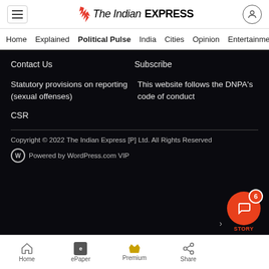The Indian EXPRESS
Home | Explained | Political Pulse | India | Cities | Opinion | Entertainment
Contact Us
Subscribe
Statutory provisions on reporting (sexual offenses)
This website follows the DNPA's code of conduct
CSR
Copyright © 2022 The Indian Express [P] Ltd. All Rights Reserved
Powered by WordPress.com VIP
Home | ePaper | Premium | Share | STORY